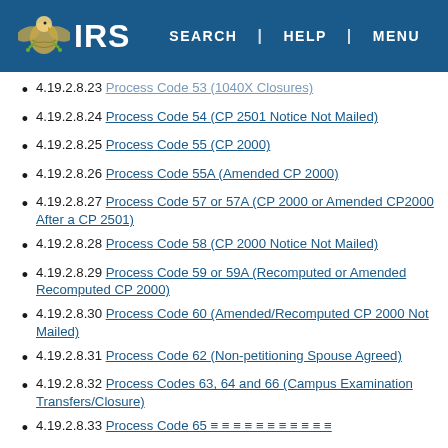IRS | SEARCH | HELP | MENU
4.19.2.8.23  Process Code 53 (1040X Closures)
4.19.2.8.24  Process Code 54 (CP 2501 Notice Not Mailed)
4.19.2.8.25  Process Code 55 (CP 2000)
4.19.2.8.26  Process Code 55A (Amended CP 2000)
4.19.2.8.27  Process Code 57 or 57A (CP 2000 or Amended CP2000 After a CP 2501)
4.19.2.8.28  Process Code 58 (CP 2000 Notice Not Mailed)
4.19.2.8.29  Process Code 59 or 59A (Recomputed or Amended Recomputed CP 2000)
4.19.2.8.30  Process Code 60 (Amended/Recomputed CP 2000 Not Mailed)
4.19.2.8.31  Process Code 62 (Non-petitioning Spouse Agreed)
4.19.2.8.32  Process Codes 63, 64 and 66 (Campus Examination Transfers/Closure)
4.19.2.8.33  Process Code 65 ≡ ≡ ≡ ≡ ≡ ≡ ≡ ≡ ≡ ≡